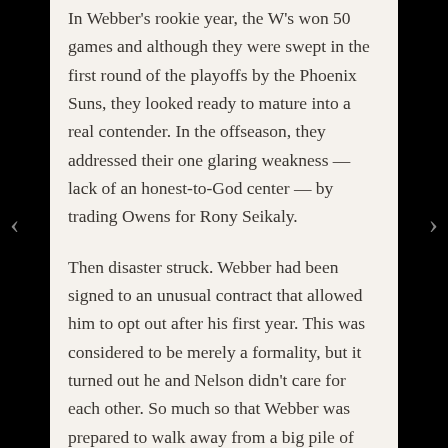In Webber's rookie year, the W's won 50 games and although they were swept in the first round of the playoffs by the Phoenix Suns, they looked ready to mature into a real contender. In the offseason, they addressed their one glaring weakness — lack of an honest-to-God center — by trading Owens for Rony Seikaly.
Then disaster struck. Webber had been signed to an unusual contract that allowed him to opt out after his first year. This was considered to be merely a formality, but it turned out he and Nelson didn't care for each other. So much so that Webber was prepared to walk away from a big pile of money rather than play another season for his nemesis.